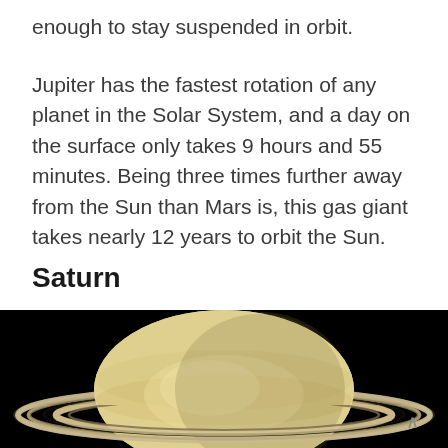enough to stay suspended in orbit.
Jupiter has the fastest rotation of any planet in the Solar System, and a day on the surface only takes 9 hours and 55 minutes. Being three times further away from the Sun than Mars is, this gas giant takes nearly 12 years to orbit the Sun.
Saturn
[Figure (photo): Photograph of Saturn showing the planet with its iconic rings against a black space background, viewed at a slight angle revealing the rings above and below the planet's equator.]